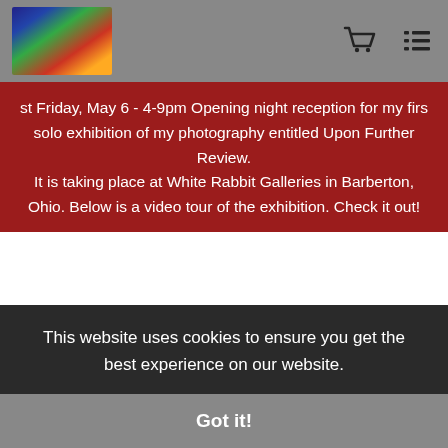st Friday, May 6 - 4-9pm Opening night reception for my first solo exhibition of my photography entitled Upon Further Review. It is taking place at White Rabbit Galleries in Barberton, Ohio. Below is a video tour of the exhibition. Check it out!
Pinterest
[Figure (illustration): Art Storefronts store icon — outline of a market stall / gallery pavilion with a small image inside]
Proud Member of Art Storefronts
This website uses cookies to ensure you get the best experience on our website.
Got it!